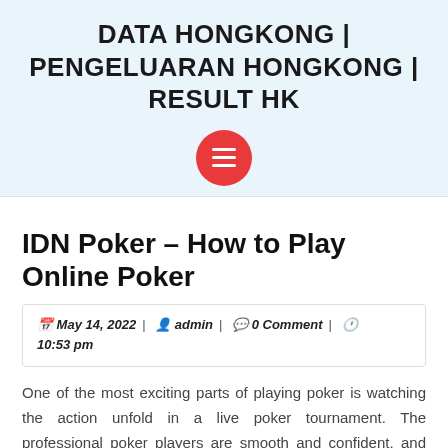DATA HONGKONG | PENGELUARAN HONGKONG | RESULT HK
IDN Poker – How to Play Online Poker
May 14, 2022 | admin | 0 Comment | 10:53 pm
One of the most exciting parts of playing poker is watching the action unfold in a live poker tournament. The professional poker players are smooth and confident, and their actions often border on the intimidating. They play with the